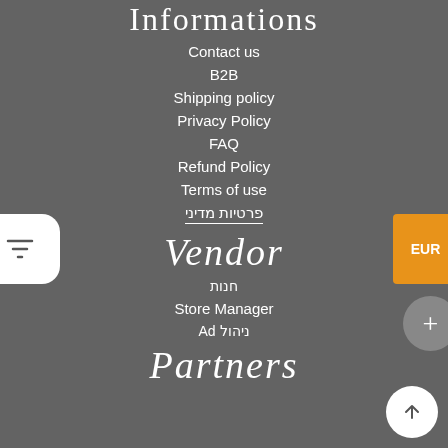Informations
Contact us
B2B
Shipping policy
Privacy Policy
FAQ
Refund Policy
Terms of use
פרטיות מדיני
Vendor
חנות
Store Manager
Ad ניהול
Partners